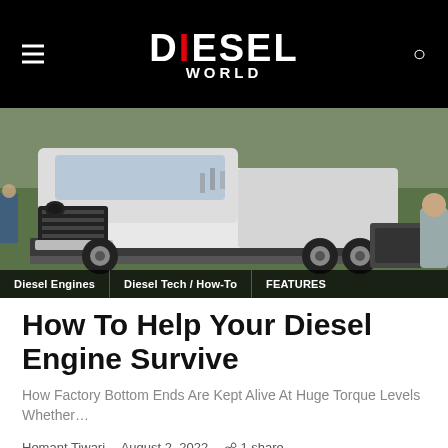DIESEL WORLD
[Figure (photo): White Dodge Ram pickup truck on a dynamometer/pull sled at an outdoor event, with spectators in background. Tags overlay at bottom: Diesel Engines | Diesel Tech / How-To | FEATURES]
How To Help Your Diesel Engine Survive
How Factory Bottom Ends Are Kept Alive At Huge Torque Levels Whether…
Hemant Tiwari · August 2, 2022 · 1 share · 657 views · 1 minute read